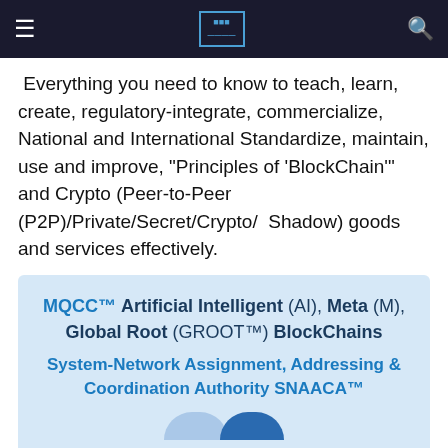≡  [LOGO]  🔍
Everything you need to know to teach, learn, create, regulatory-integrate, commercialize, National and International Standardize, maintain, use and improve, "Principles of 'BlockChain'" and Crypto (Peer-to-Peer (P2P)/Private/Secret/Crypto/  Shadow) goods and services effectively.
Learn more
MQCC™ Artificial Intelligent (AI), Meta (M), Global Root (GROOT™) BlockChains System-Network Assignment, Addressing & Coordination Authority SNAACA™